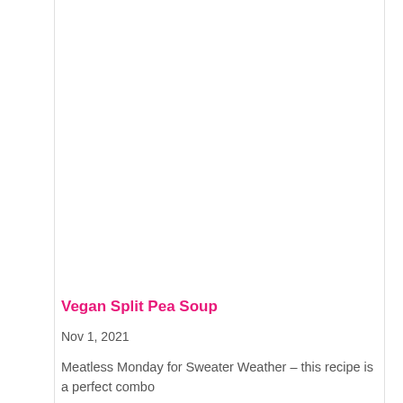Vegan Split Pea Soup
Nov 1, 2021
Meatless Monday for Sweater Weather – this recipe is a perfect combo